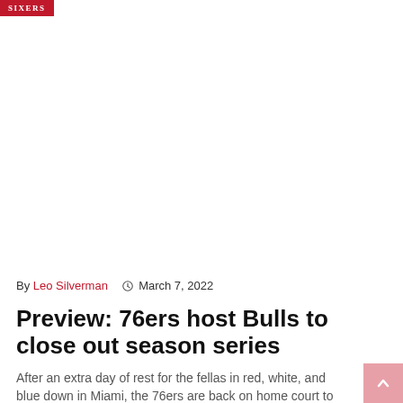SIXERS
By Leo Silverman  ⊙  March 7, 2022
Preview: 76ers host Bulls to close out season series
After an extra day of rest for the fellas in red, white, and blue down in Miami, the 76ers are back on home court to host ...